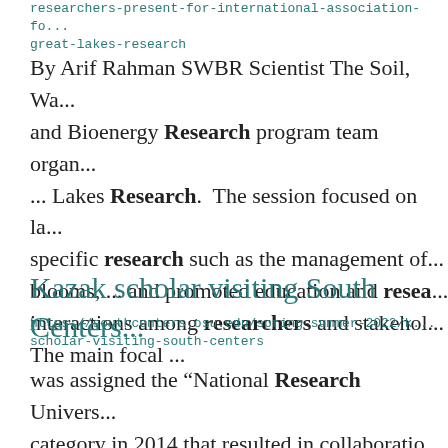researchers-present-for-international-association-for-great-lakes-research
By Arif Rahman SWBR Scientist The Soil, Wa... and Bioenergy Research program team organ... ... Lakes Research. The session focused on la... specific research such as the management of blooms, ... and promoted education and resea... interactions among researchers and stakehol... The main focal ...
Kazak scholar visiting South Centers
https://southcenters.osu.edu/spring-summer-2022/k... scholar-visiting-south-centers
was assigned the “National Research Univers... category in 2014 that resulted in collaboratio... ... Kazakhstan government. His academic tea...